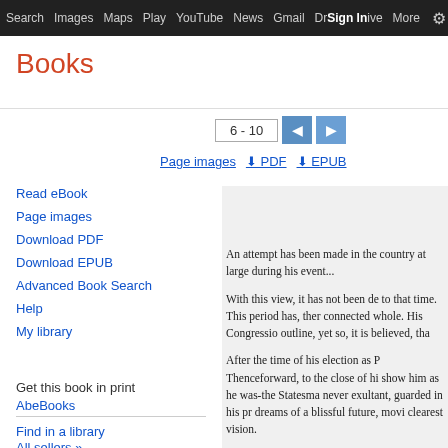Search  Images  Maps  Play  YouTube  News  Gmail  Drive  More  Sign in  (settings)
Books
6 - 10
Page images  PDF  EPUB
Read eBook
Page images
Download PDF
Download EPUB
Advanced Book Search
Help
My library
Get this book in print
AbeBooks
Find in a library
All sellers »
An attempt has been made in the country at large during his event...

With this view, it has not been de to that time. This period has, ther connected whole. His Congressio outline, yet so, it is believed, tha

After the time of his election as P Thenceforward, to the close of hi show him as he was-the Statesma never exultant, guarded in his pr dreams of a blissful future, movi clearest vision.